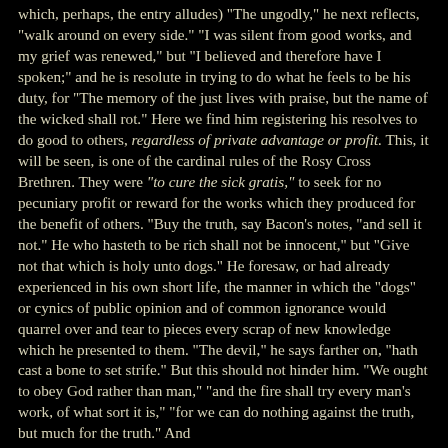which, perhaps, the entry alludes) "The ungodly," he next reflects, "walk around on every side." "I was silent from good works, and my grief was renewed," but "I believed and therefore have I spoken;" and he is resolute in trying to do what he feels to be his duty, for "The memory of the just lives with praise, but the name of the wicked shall rot." Here we find him registering his resolves to do good to others, regardless of private advantage or profit. This, it will be seen, is one of the cardinal rules of the Rosy Cross Brethren. They were "to cure the sick gratis," to seek for no pecuniary profit or reward for the works which they produced for the benefit of others. "Buy the truth, say Bacon's notes, "and sell it not." He who hasteth to be rich shall not be innocent," but "Give not that which is holy unto dogs." He foresaw, or had already experienced in his own short life, the manner in which the "dogs" or cynics of public opinion and of common ignorance would quarrel over and tear to pieces every scrap of new knowledge which he presented to them. "The devil," he says farther on, "hath cast a bone to set strife." But this should not hinder him. "We ought to obey God rather than man," "and the fire shall try every man's work, of what sort it is," "for we can do nothing against the truth, but much for the truth." And